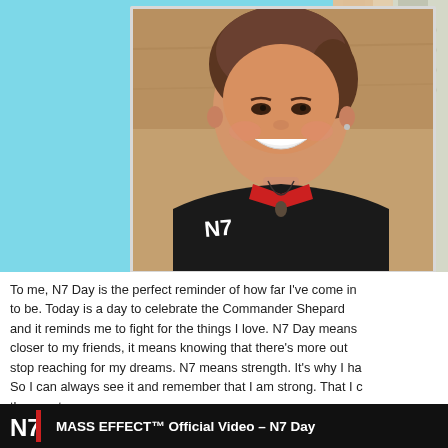[Figure (photo): A smiling young woman wearing a black jacket with the N7 Mass Effect logo and a red collar, with a pendant necklace, photographed indoors.]
To me, N7 Day is the perfect reminder of how far I've come in to be. Today is a day to celebrate the Commander Shepard and it reminds me to fight for the things I love. N7 Day means closer to my friends, it means knowing that there's more out stop reaching for my dreams. N7 means strength. It's why I ha So I can always see it and remember that I am strong. That I c throws at me.
[Figure (screenshot): A dark banner showing the N7 logo and text 'MASS EFFECT™ Official Video – N7 Day']